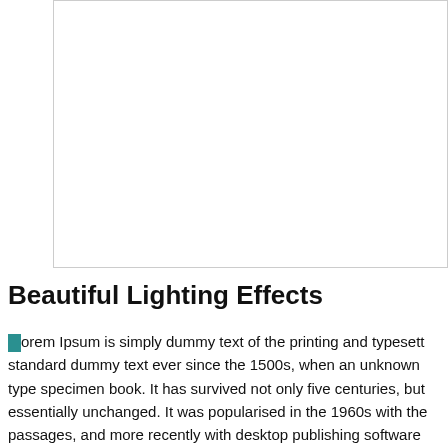[Figure (other): Large white rectangular image placeholder with a light gray border, occupying the upper portion of the page.]
Beautiful Lighting Effects
Lorem Ipsum is simply dummy text of the printing and typesetting standard dummy text ever since the 1500s, when an unknown type specimen book. It has survived not only five centuries, but essentially unchanged. It was popularised in the 1960s with the passages, and more recently with desktop publishing software